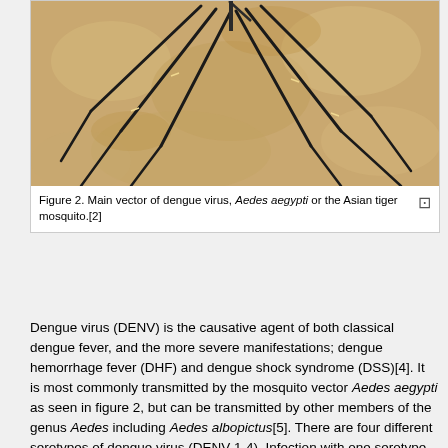[Figure (photo): Close-up photo of Aedes aegypti mosquito legs on skin surface, showing dark legs against a golden/tan background]
Figure 2. Main vector of dengue virus, Aedes aegypti or the Asian tiger mosquito.[2]
Dengue virus (DENV) is the causative agent of both classical dengue fever, and the more severe manifestations; dengue hemorrhage fever (DHF) and dengue shock syndrome (DSS)[4]. It is most commonly transmitted by the mosquito vector Aedes aegypti as seen in figure 2, but can be transmitted by other members of the genus Aedes including Aedes albopictus[5]. There are four different serotypes of dengue virus (DENV 1-4). Infection with one serotype affords life-long immunity to that serotype but only partial (heterologous) immunity to other serotypes for a short period of time post-infection. After initial protective immunity the risk of developing DHF or DSS upon reinfection strain from a different serotype